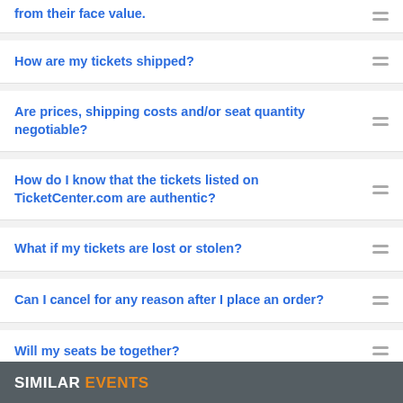from their face value.
How are my tickets shipped?
Are prices, shipping costs and/or seat quantity negotiable?
How do I know that the tickets listed on TicketCenter.com are authentic?
What if my tickets are lost or stolen?
Can I cancel for any reason after I place an order?
Will my seats be together?
Can I order over the phone?
SIMILAR EVENTS